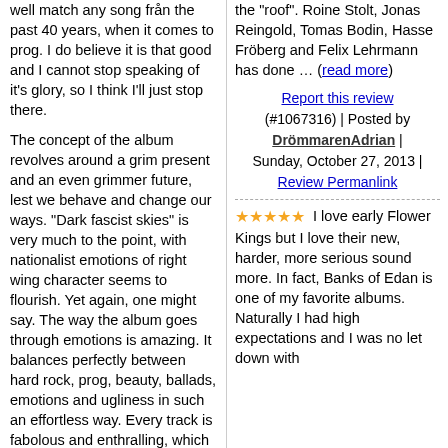well match any song from the past 40 years, when it comes to prog. I do believe it is that good and I cannot stop speaking of it's glory, so I think I'll just stop there.
The concept of the album revolves around a grim present and an even grimmer future, lest we behave and change our ways. "Dark fascist skies" is very much to the point, with nationalist emotions of right wing character seems to flourish. Yet again, one might say. The way the album goes through emotions is amazing. It balances perfectly between hard rock, prog, beauty, ballads, emotions and ugliness in such an effortless way. Every track is fabolous and enthralling, which on it's own is a rare thing.
What I find so intriguing about this album is the sense of progressive rock's ability to build symphonies with recurring themes and an overall feeling of being cohesive. You listen to, what seems like, ...
the "roof". Roine Stolt, Jonas Reingold, Tomas Bodin, Hasse Fröberg and Felix Lehrmann has done … (read more)
Report this review (#1067316) | Posted by DrömmarenAdrian | Sunday, October 27, 2013 | Review Permanlink
★★★★★ I love early Flower Kings but I love their new, harder, more serious sound more. In fact, Banks of Edan is one of my favorite albums. Naturally I had high expectations and I was no let down with